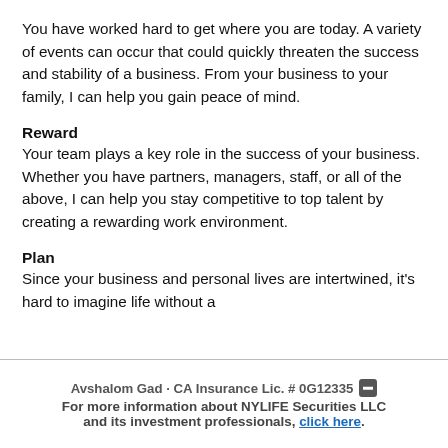You have worked hard to get where you are today. A variety of events can occur that could quickly threaten the success and stability of a business. From your business to your family, I can help you gain peace of mind.
Reward
Your team plays a key role in the success of your business. Whether you have partners, managers, staff, or all of the above, I can help you stay competitive to top talent by creating a rewarding work environment.
Plan
Since your business and personal lives are intertwined, it's hard to imagine life without a
Avshalom Gad · CA Insurance Lic. # 0G12335
For more information about NYLIFE Securities LLC and its investment professionals, click here.